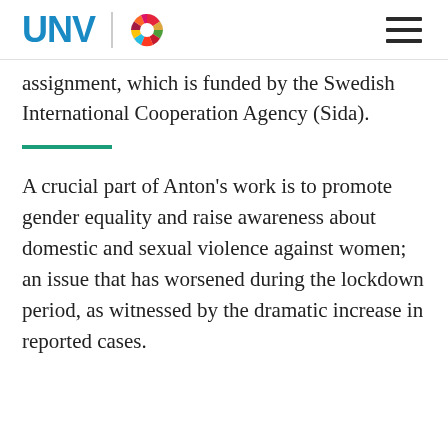UNV
assignment, which is funded by the Swedish International Cooperation Agency (Sida).
A crucial part of Anton's work is to promote gender equality and raise awareness about domestic and sexual violence against women; an issue that has worsened during the lockdown period, as witnessed by the dramatic increase in reported cases.